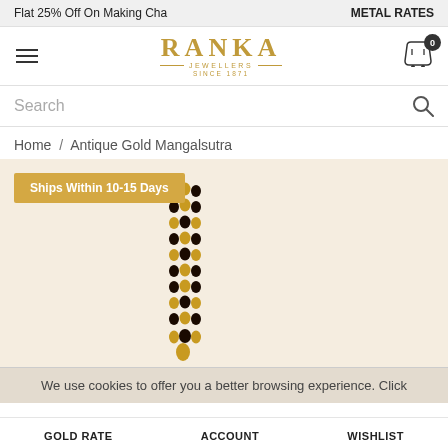Flat 25% Off On Making Cha    METAL RATES
[Figure (logo): Ranka Jewellers logo with gold text, 'JEWELLERS' subtitle and 'SINCE 1871' tagline]
Search
Home / Antique Gold Mangalsutra
[Figure (photo): Two antique gold mangalsutra chains with black and gold beads on a cream background. Badge reads: Ships Within 10-15 Days]
We use cookies to offer you a better browsing experience. Click
GOLD RATE    ACCOUNT    WISHLIST